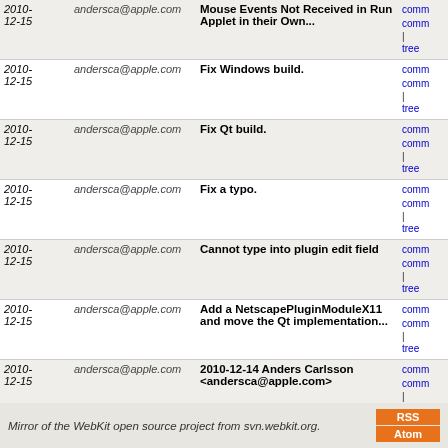| Date | Author | Message | Links |
| --- | --- | --- | --- |
| 2010-12-15 | andersca@apple.com | Mouse Events Not Received in Run Applet in their Own... | comm
comm
| tree |
| 2010-12-15 | andersca@apple.com | Fix Windows build. | comm
comm
| tree |
| 2010-12-15 | andersca@apple.com | Fix Qt build. | comm
comm
| tree |
| 2010-12-15 | andersca@apple.com | Fix a typo. | comm
comm
| tree |
| 2010-12-15 | andersca@apple.com | Cannot type into plugin edit field | comm
comm
| tree |
| 2010-12-15 | andersca@apple.com | Add a NetscapePluginModuleX11 and move the Qt implementation... | comm
comm
| tree |
| 2010-12-15 | andersca@apple.com | 2010-12-14 Anders Carlsson <andersca@apple.com> | comm
comm
| tree |
| 2010-12-14 | andersca@apple.com | Move PluginInfoStore::getPluginInfo to NetscapePluginModule | comm
comm
| tree |
| 2010-12-14 | andersca@apple.com | 2010-12-14 Anders Carlsson <andersca@apple.com> | comm
comm
| tree |
| 2010-12-14 | andersca@apple.com | Move NetscapePluginModule.{cpp|h} to Shared/Plugins... | comm
comm
| tree |
| 2010-12-14 | andersca@apple.com | Handle complex text input for plug-ins | comm
comm
| tree |
next
Mirror of the WebKit open source project from svn.webkit.org.